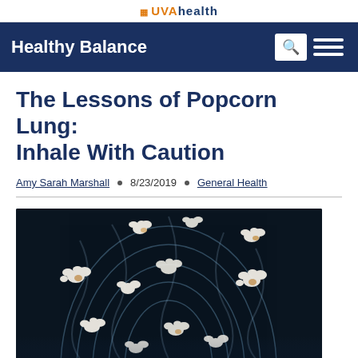UVAHealth
Healthy Balance
The Lessons of Popcorn Lung: Inhale With Caution
Amy Sarah Marshall • 8/23/2019 • General Health
[Figure (photo): X-ray image of a human chest with popcorn pieces superimposed on the lungs against a dark background, illustrating popcorn lung concept]